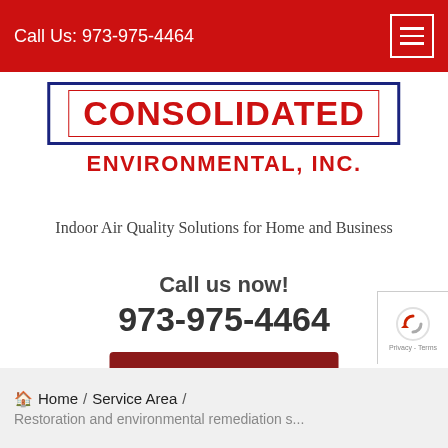Call Us: 973-975-4464
CONSOLIDATED ENVIRONMENTAL, INC.
Indoor Air Quality Solutions for Home and Business
Call us now!
973-975-4464
FREE ESTIMATE
Home / Service Area / Restoration and environmental remediation s...